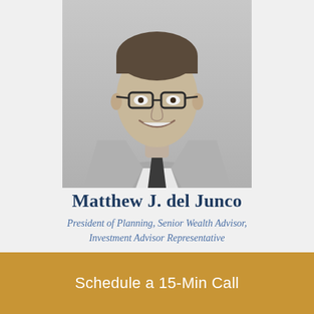[Figure (photo): Black and white professional headshot of Matthew J. del Junco, a young man in glasses, wearing a grey suit jacket, white dress shirt, and dark tie, smiling at the camera]
Matthew J. del Junco
President of Planning, Senior Wealth Advisor, Investment Advisor Representative
Schedule a 15-Min Call